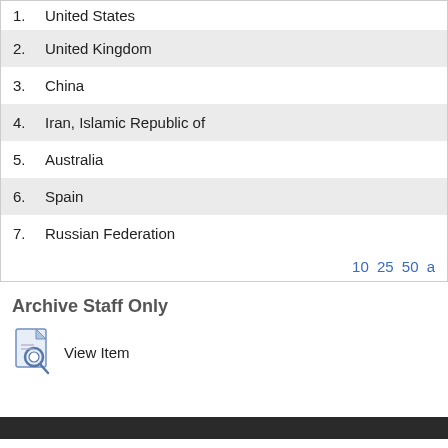1. United States
2. United Kingdom
3. China
4. Iran, Islamic Republic of
5. Australia
6. Spain
7. Russian Federation
10 25 50 a
Archive Staff Only
View Item
Disclaimer | Freedom of Information | Accessibility | Privacy | Advanced Search | Contact Us | + University College London, Gower Street, London, WC1E 6BT Tel: +44 (0) 20 7679 2000